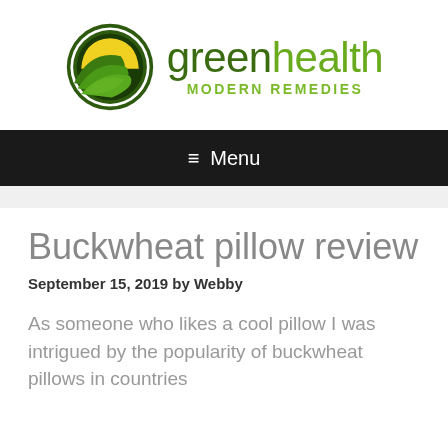[Figure (logo): Green Health Modern Remedies logo: circular icon with dark green border, green leaf and yellow sun shape inside, next to text 'greenhealth' in large sans-serif with 'MODERN REMEDIES' subtitle in green]
≡ Menu
Buckwheat pillow review
September 15, 2019 by Webby
As someone who likes a cool pillow I was intrigued by the popularity of buckwheat pillows in countries